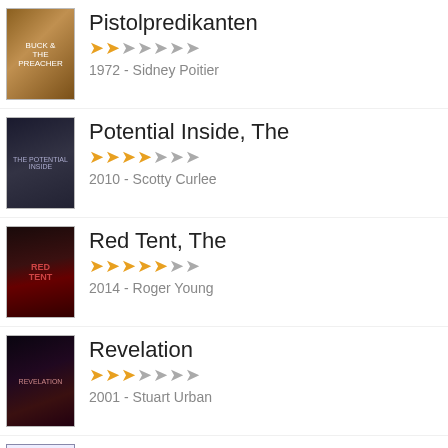Pistolpredikanten
1972 - Sidney Poitier
Potential Inside, The
2010 - Scotty Curlee
Red Tent, The
2014 - Roger Young
Revelation
2001 - Stuart Urban
Ringenes Herre: Atter en konge